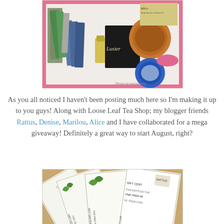[Figure (photo): An open box filled with various beauty product samples including packets, small containers, a Luster product, and other cosmetic items with pink lining visible]
As you all noticed I haven't been posting much here so I'm making it up to you guys! Along with Loose Leaf Tea Shop; my blogger friends Rattus, Denise, Marilou, Alice and I have collaborated for a mega giveaway! Definitely a great way to start August, right?
[Figure (photo): Several Loose Leaf Tea Shop gift certificates labeled 'GIFT CERTEAFICA' and 'ONE FREE MI...' fanned out on a surface, with a Rattus logo visible]